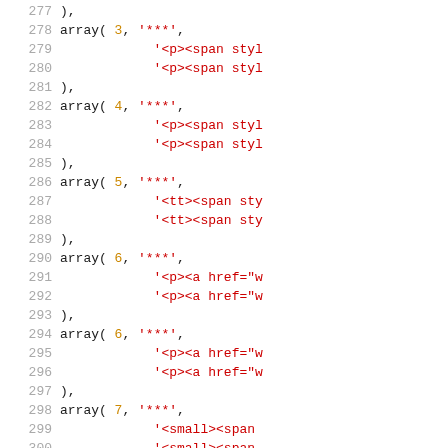Code listing lines 277-306 showing PHP array() calls with numbered lines and syntax highlighting